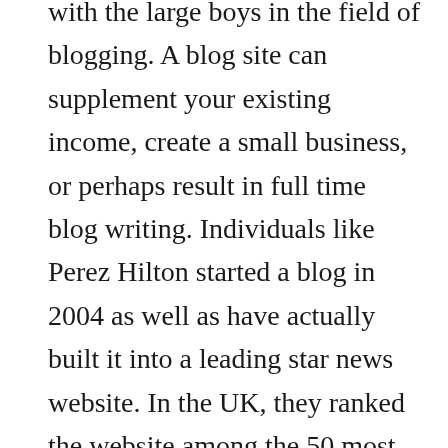with the large boys in the field of blogging. A blog site can supplement your existing income, create a small business, or perhaps result in full time blog writing. Individuals like Perez Hilton started a blog in 2004 as well as have actually built it into a leading star news website. In the UK, they ranked the website among the 50 most influential blogs. Lots of people select blogging as a method to deal with difficult life occasions and share their inner ideas with others.